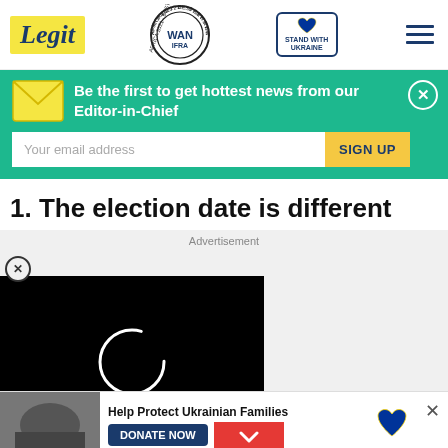Legit | WAN IFRA 2021 Best News Website in Africa | Stand with Ukraine
Be the first to get hottest news from our Editor-in-Chief
Your email address | SIGN UP
1. The election date is different
Advertisement
[Figure (screenshot): Video player loading screen with circular loading spinner on black background]
[Figure (photo): People helping Ukrainian families, bottom banner ad with Donate Now button]